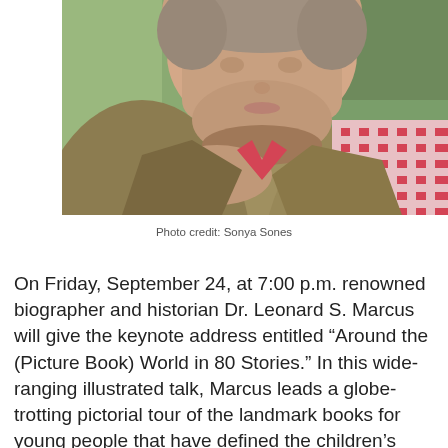[Figure (photo): Close-up portrait photo of a middle-aged man wearing a green/olive herringbone blazer over a red and white gingham/check shirt, resting his head on his hand, with greenery in the background.]
Photo credit: Sonya Sones
On Friday, September 24, at 7:00 p.m. renowned biographer and historian Dr. Leonard S. Marcus will give the keynote address entitled “Around the (Picture Book) World in 80 Stories.” In this wide-ranging illustrated talk, Marcus leads a globe-trotting pictorial tour of the landmark books for young people that have defined the children’s picture book for over two centuries. You may well be surprised by the vastness, variety, and creative richness of this deceptively simple